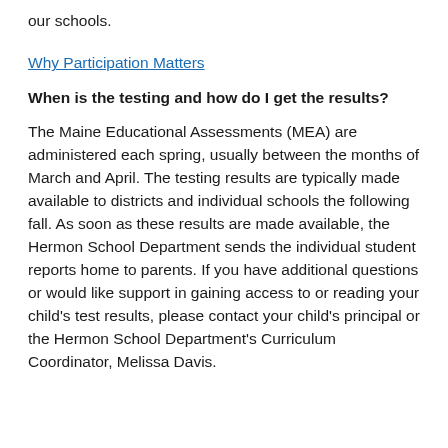our schools.
Why Participation Matters
When is the testing and how do I get the results?
The Maine Educational Assessments (MEA) are administered each spring, usually between the months of March and April. The testing results are typically made available to districts and individual schools the following fall. As soon as these results are made available, the Hermon School Department sends the individual student reports home to parents. If you have additional questions or would like support in gaining access to or reading your child's test results, please contact your child's principal or the Hermon School Department's Curriculum Coordinator, Melissa Davis.